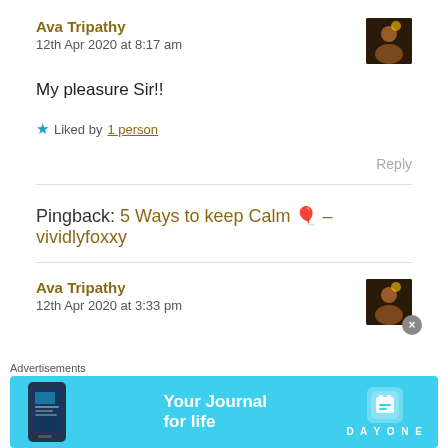Ava Tripathy
12th Apr 2020 at 8:17 am
My pleasure Sir!!
★ Liked by 1 person
Reply
Pingback: 5 Ways to keep Calm 📍 – vividlyfoxxy
Ava Tripathy
12th Apr 2020 at 3:33 pm
Advertisements
[Figure (infographic): DayOne app advertisement banner with cyan background showing 'Your Journal for life' text and DayOne logo]